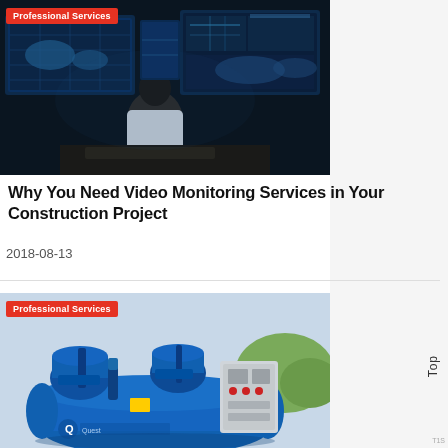[Figure (photo): Person sitting in front of multiple monitors showing surveillance/data feeds in a dark control room. Tag: Professional Services.]
Why You Need Video Monitoring Services in Your Construction Project
2018-08-13
[Figure (photo): Blue industrial air compressor machinery with control panel, outdoors. Tag: Professional Services.]